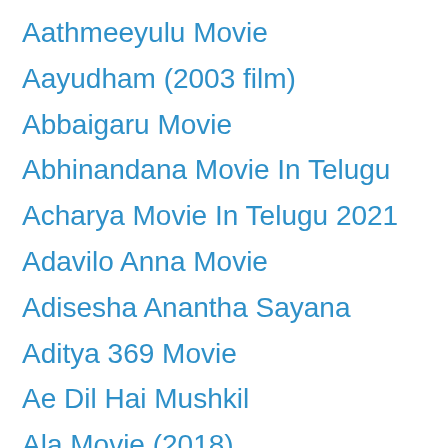Aathmeeyulu Movie
Aayudham (2003 film)
Abbaigaru Movie
Abhinandana Movie In Telugu
Acharya Movie In Telugu 2021
Adavilo Anna Movie
Adisesha Anantha Sayana
Aditya 369 Movie
Ae Dil Hai Mushkil
Ala Movie (2018)
Ala Vaikunthapurramuloo
Alan Walker Faded
Allari Premikudu Movie
Allari Priyudu Movie
Alludu Adhurs 2021